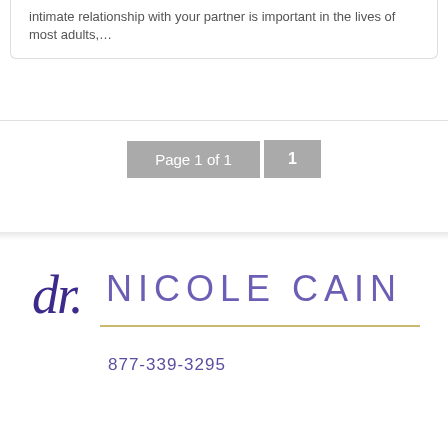intimate relationship with your partner is important in the lives of most adults,…
Page 1 of 1   1
[Figure (logo): Dr. Nicole Cain logo with script 'dr.' in dark purple and 'NICOLE CAIN' in light purple with gold underline]
877-339-3295